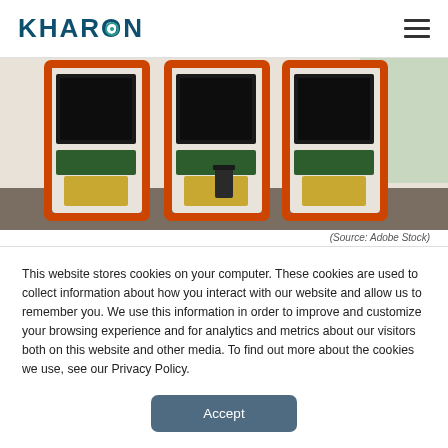KHARON
[Figure (photo): Row of three ATM machines with orange frames mounted on a white wall exterior, with a parking area visible in the background]
(Source: Adobe Stock)
By Samuel Rubenfeld
This website stores cookies on your computer. These cookies are used to collect information about how you interact with our website and allow us to remember you. We use this information in order to improve and customize your browsing experience and for analytics and metrics about our visitors both on this website and other media. To find out more about the cookies we use, see our Privacy Policy.
Accept